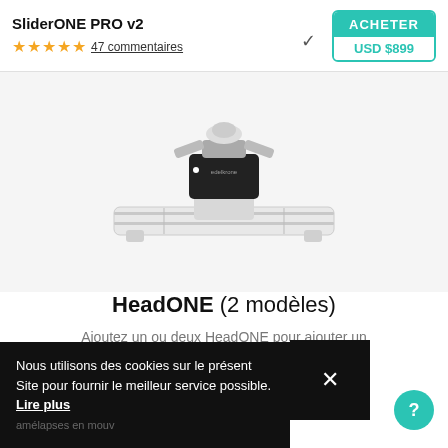SliderONE PRO v2
47 commentaires
ACHETER USD $899
[Figure (photo): Product photo of edelkrone SliderONE PRO v2 with HeadONE motorized pan/tilt head attached on top, shown on white/grey background]
HeadONE (2 modèles)
Ajoutez un ou deux HeadONE pour ajouter un panoramique motorisé et/ou une inclinaison à SliderONE. Parfait pour réaliser de superbes
Nous utilisons des cookies sur le présent Site pour fournir le meilleur service possible. Lire plus